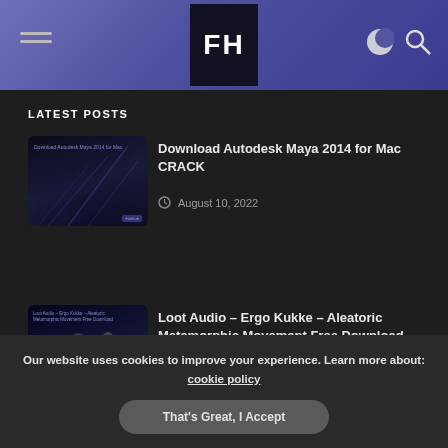[Figure (screenshot): Website header with hamburger menu on left, FH logo in center black box, moon and search icons on right, purple/blue gradient background]
LATEST POSTS
[Figure (photo): Thumbnail for Download Autodesk Maya 2014 for Mac CRACK article, dark blue background with light streaks]
Download Autodesk Maya 2014 for Mac CRACK
August 10, 2022
[Figure (photo): Thumbnail for Loot Audio – Ergo Kukke – Aleatoric Metamorphic Movement Free Download CRACK article, dark blue with robotic figures]
Loot Audio – Ergo Kukke – Aleatoric Metamorphic Movement Free Download CRACK
August 10, 2022
Our website uses cookies to improve your experience. Learn more about: cookie policy
That's Great, I Accept